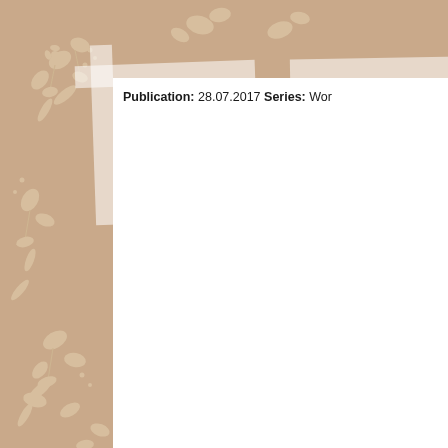Publication: 28.07.2017 Series: Wor